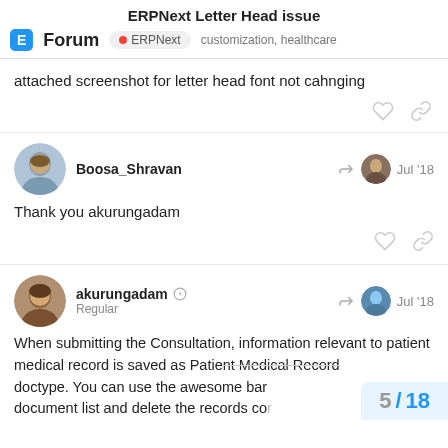ERPNext Letter Head issue
Forum   ERPNext   customization,   healthcare
attached screenshot for letter head font not cahnging
Boosa_Shravan   Jul '18
Thank you akurungadam
akurungadam  Regular   Jul '18
When submitting the Consultation, information relevant to patient medical record is saved as Patient Medical Record doctype. You can use the awesome bar document list and delete the records co
5 / 18